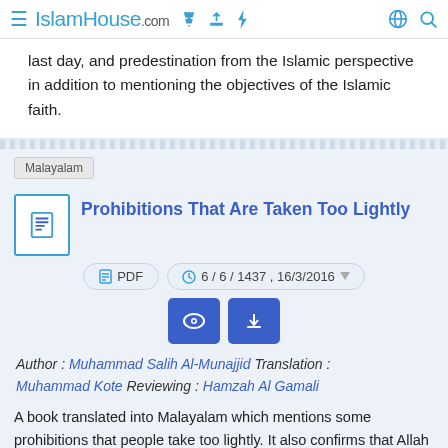IslamHouse.com
last day, and predestination from the Islamic perspective in addition to mentioning the objectives of the Islamic faith.
Malayalam
Prohibitions That Are Taken Too Lightly
PDF   6 / 6 / 1437 , 16/3/2016
Author : Muhammad Salih Al-Munajjid   Translation : Muhammad Kote   Reviewing : Hamzah Al Gamali
A book translated into Malayalam which mentions some prohibitions that people take too lightly. It also confirms that Allah showed us obligations which we are not permitted to ignore, limits which we are not permitted to transgress, and prohibitions which we